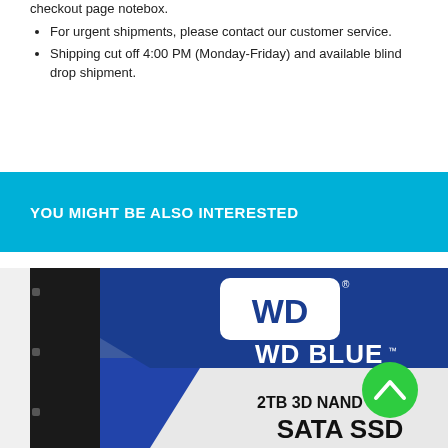checkout page notebox.
For urgent shipments, please contact our customer service.
Shipping cut off 4:00 PM (Monday-Friday) and available blind drop shipment.
YOU MIGHT BE ALSO INTERESTED
[Figure (photo): WD Blue 2TB 3D NAND SATA SSD product photo showing the drive at an angle with the WD logo and product branding visible]